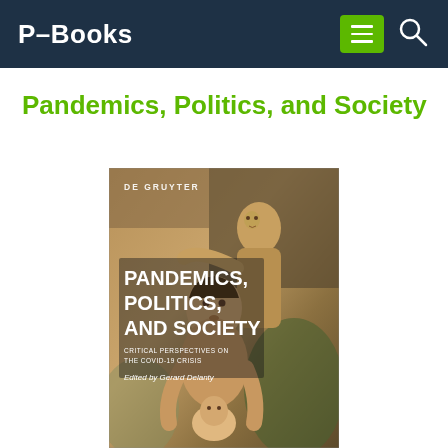P-Books
Pandemics, Politics, and Society
[Figure (illustration): Book cover of 'Pandemics, Politics, and Society: Critical Perspectives on the COVID-19 Crisis', edited by Gerard Delanty, published by De Gruyter. The cover features an expressionist painting of two figures and a child. The title text is in bold white capital letters on the cover.]